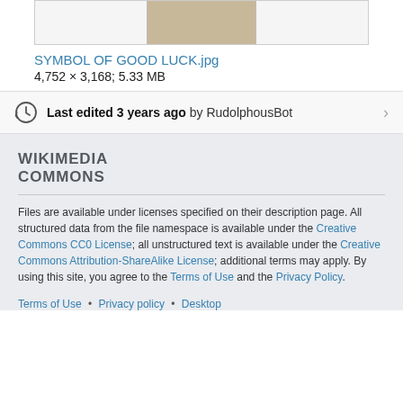[Figure (photo): Top portion of a photo visible at the top of the page, showing a rocky/natural texture]
SYMBOL OF GOOD LUCK.jpg
4,752 × 3,168; 5.33 MB
Last edited 3 years ago by RudolphousBot
WIKIMEDIA COMMONS
Files are available under licenses specified on their description page. All structured data from the file namespace is available under the Creative Commons CC0 License; all unstructured text is available under the Creative Commons Attribution-ShareAlike License; additional terms may apply. By using this site, you agree to the Terms of Use and the Privacy Policy.
Terms of Use • Privacy policy • Desktop